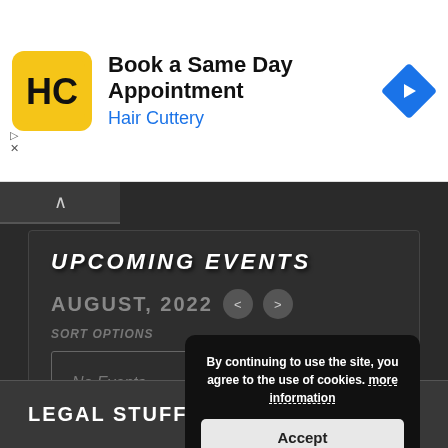[Figure (logo): Hair Cuttery advertisement banner with HC logo, 'Book a Same Day Appointment', 'Hair Cuttery' text, and navigation arrow icon]
UPCOMING EVENTS
AUGUST, 2022
SORT OPTIONS
No Events
By continuing to use the site, you agree to the use of cookies. more information
Accept
LEGAL STUFF